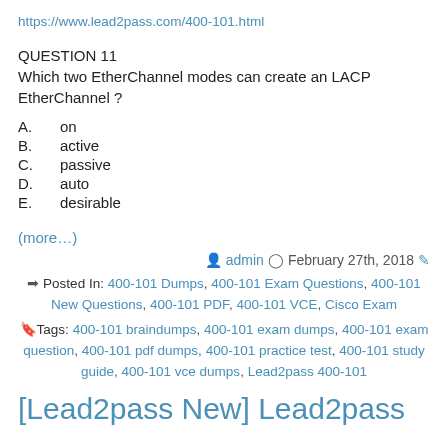https://www.lead2pass.com/400-101.html
QUESTION 11
Which two EtherChannel modes can create an LACP EtherChannel ?
A.    on
B.    active
C.    passive
D.    auto
E.    desirable
(more…)
admin  February 27th, 2018
Posted In: 400-101 Dumps, 400-101 Exam Questions, 400-101 New Questions, 400-101 PDF, 400-101 VCE, Cisco Exam
Tags: 400-101 braindumps, 400-101 exam dumps, 400-101 exam question, 400-101 pdf dumps, 400-101 practice test, 400-101 study guide, 400-101 vce dumps, Lead2pass 400-101
[Lead2pass New] Lead2pass